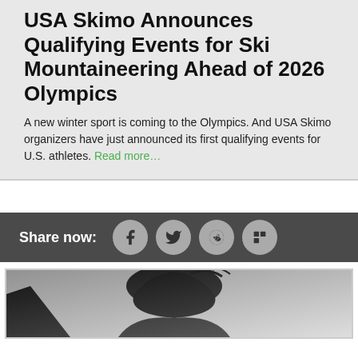USA Skimo Announces Qualifying Events for Ski Mountaineering Ahead of 2026 Olympics
A new winter sport is coming to the Olympics. And USA Skimo organizers have just announced its first qualifying events for U.S. athletes. Read more…
Share now:
[Figure (other): Black and white photo of a skier, partially visible at bottom of page]